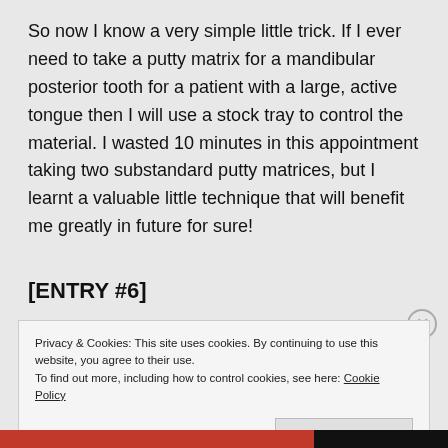So now I know a very simple little trick. If I ever need to take a putty matrix for a mandibular posterior tooth for a patient with a large, active tongue then I will use a stock tray to control the material. I wasted 10 minutes in this appointment taking two substandard putty matrices, but I learnt a valuable little technique that will benefit me greatly in future for sure!
[ENTRY #6]
Privacy & Cookies: This site uses cookies. By continuing to use this website, you agree to their use.
To find out more, including how to control cookies, see here: Cookie Policy